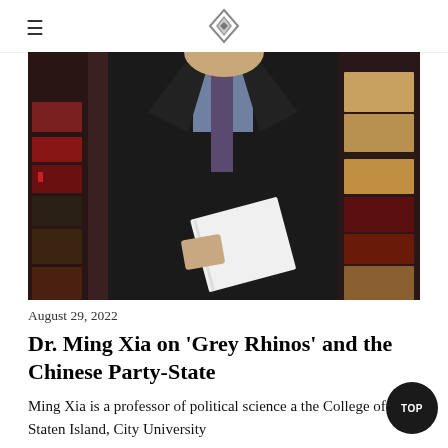≡ [logo]
[Figure (photo): A man in a black suit and purple tie holding a white book or notebook, standing in front of a bookshelf with law books, face not visible (cropped at neck)]
August 29, 2022
Dr. Ming Xia on 'Grey Rhinos' and the Chinese Party-State
Ming Xia is a professor of political science at the College of Staten Island, City University